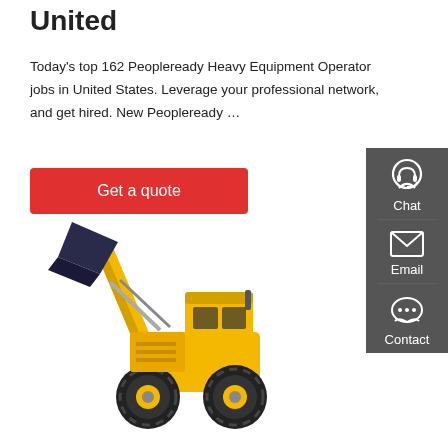United
Today's top 162 Peopleready Heavy Equipment Operator jobs in United States. Leverage your professional network, and get hired. New Peopleready …
[Figure (other): Red 'Get a quote' button]
[Figure (other): Dark grey sidebar with Chat, Email, and Contact icons]
[Figure (photo): Yellow front loader / wheel loader construction machine on white background]